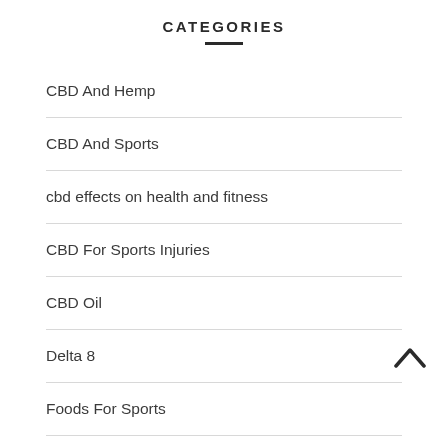CATEGORIES
CBD And Hemp
CBD And Sports
cbd effects on health and fitness
CBD For Sports Injuries
CBD Oil
Delta 8
Foods For Sports
General
Healthy Life